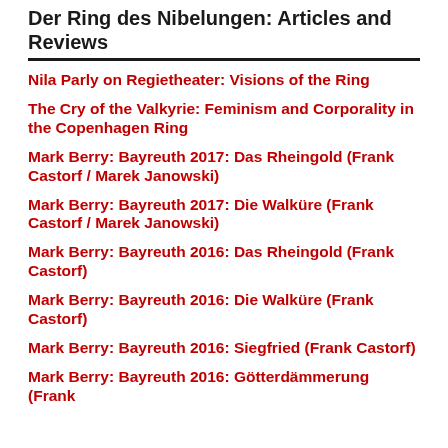Der Ring des Nibelungen: Articles and Reviews
Nila Parly on Regietheater: Visions of the Ring
The Cry of the Valkyrie: Feminism and Corporality in the Copenhagen Ring
Mark Berry: Bayreuth 2017: Das Rheingold (Frank Castorf / Marek Janowski)
Mark Berry: Bayreuth 2017: Die Walküre (Frank Castorf / Marek Janowski)
Mark Berry: Bayreuth 2016: Das Rheingold (Frank Castorf)
Mark Berry: Bayreuth 2016: Die Walküre (Frank Castorf)
Mark Berry: Bayreuth 2016: Siegfried (Frank Castorf)
Mark Berry: Bayreuth 2016: Götterdämmerung (Frank